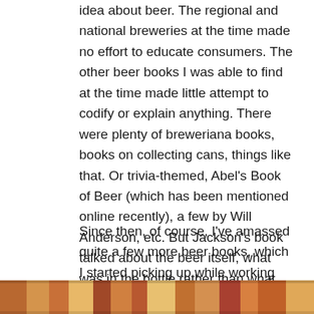idea about beer. The regional and national breweries at the time made no effort to educate consumers. The other beer books I was able to find at the time made little attempt to codify or explain anything. There were plenty of breweriana books, books on collecting cans, things like that. Or trivia-themed, Abel's Book of Beer (which has been mentioned online recently), a few by Will Anderson, etc. But Jackson's book talked about the beer itself, what was in the bottle rather than what was on the label. That was pretty cool at the time.
Since then, of course, I've amassed quite a few more beer books, which I started picking up while working on my first book in 1991. Below is the original shelf I set aside for beer books.
[Figure (photo): A photograph of a bookshelf showing a row of beer books with colorful spines in orange, red, and yellow tones.]